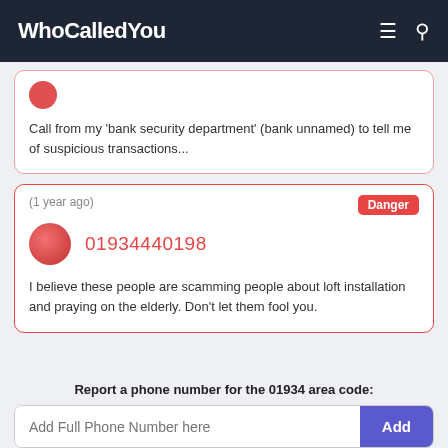WhoCalledYou
Call from my 'bank security department' (bank unnamed) to tell me of suspicious transactions...
(1 year ago)
Danger
01934440198
I believe these people are scamming people about loft installation and praying on the elderly. Don't let them fool you.
Report a phone number for the 01934 area code:
Add Full Phone Number here
Add